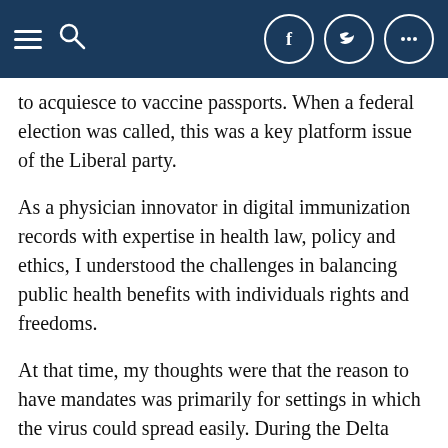Navigation header with menu, search, Facebook, Twitter, and more options buttons
to acquiesce to vaccine passports. When a federal election was called, this was a key platform issue of the Liberal party.
As a physician innovator in digital immunization records with expertise in health law, policy and ethics, I understood the challenges in balancing public health benefits with individuals rights and freedoms.
At that time, my thoughts were that the reason to have mandates was primarily for settings in which the virus could spread easily. During the Delta wave, stories of vulnerable essential workers contracting the virus in warehouses and meat packing plants and spreading it to their families who fell seriously ill, were terrible.